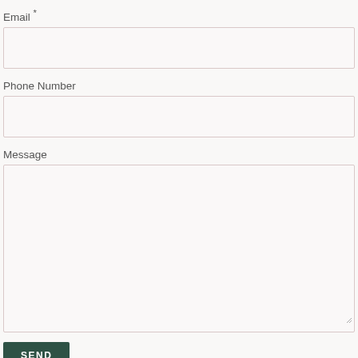Email *
Phone Number
Message
SEND